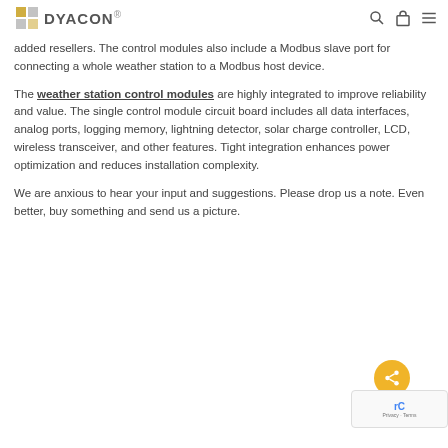DYACON
added resellers. The control modules also include a Modbus slave port for connecting a whole weather station to a Modbus host device.
The weather station control modules are highly integrated to improve reliability and value. The single control module circuit board includes all data interfaces, analog ports, logging memory, lightning detector, solar charge controller, LCD, wireless transceiver, and other features. Tight integration enhances power optimization and reduces installation complexity.
We are anxious to hear your input and suggestions. Please drop us a note. Even better, buy something and send us a picture.